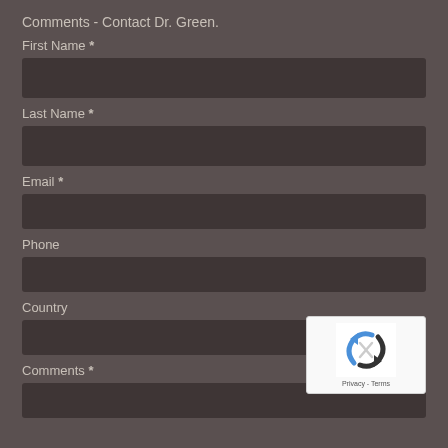Comments - Contact Dr. Green.
First Name *
Last Name *
Email *
Phone
Country
Comments *
[Figure (other): reCAPTCHA badge with logo and Privacy - Terms links]